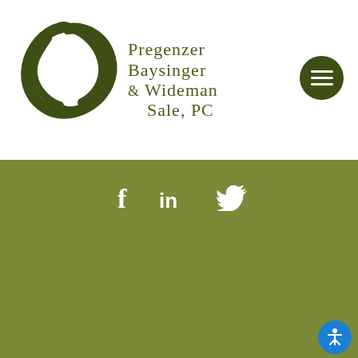[Figure (logo): Pregenzer Baysinger & Wideman Sale, PC law firm logo with dark olive green circular wreath/leaf design and firm name in olive green serif text]
[Figure (illustration): Menu button: dark olive green circle with three white horizontal lines (hamburger menu icon)]
[Figure (illustration): Social media icons: Facebook (f), LinkedIn (in), Twitter bird icon in white on olive green background]
Disclaimer: The information provided on this website does not, and is not intended to, constitute legal advice; instead, all information, content, and materials available on this site are for general informational purposes only.
© PBWS Law